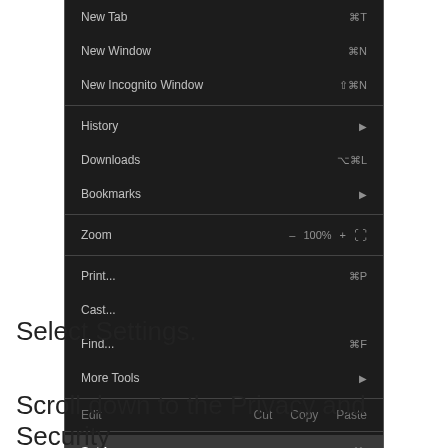[Figure (screenshot): Chrome browser menu dropdown showing menu items: New Tab, New Window, New Incognito Window, History, Downloads, Bookmarks, Zoom (100%), Print..., Cast..., Find..., More Tools, Edit (Cut Copy Paste), Settings (highlighted), Help — dark theme UI screenshot]
Select Settings.
Scroll down to the Privacy and Security